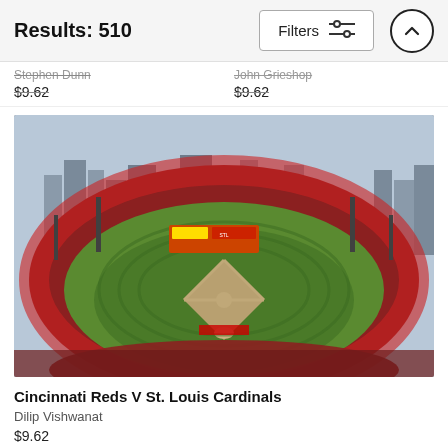Results: 510
Stephen Dunn
$9.62
John Grieshop
$9.62
[Figure (photo): Aerial view of Busch Stadium packed with fans during Cincinnati Reds V St. Louis Cardinals game, with the Gateway Arch and St. Louis skyline visible in the background.]
Cincinnati Reds V St. Louis Cardinals
Dilip Vishwanat
$9.62